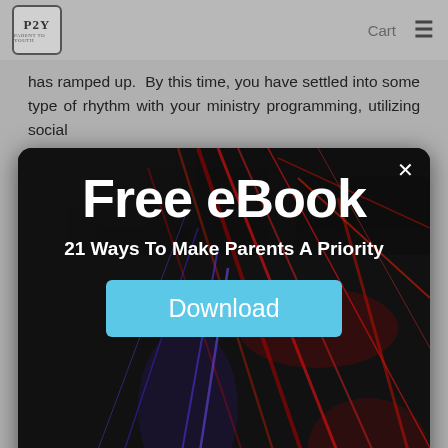P2Y | Cart
has ramped up.  By this time, you have settled into some type of rhythm with your ministry programming, utilizing social
[Figure (infographic): Popup modal with dark background and abstract red/blue light streaks. Contains title 'Free eBook', subtitle '21 Ways To Make Parents A Priority', a cyan/blue Download button, and an X close button in the top-right corner.]
personal even though this you are currently living in a very impersonal world. Right now, a personal phone call means way more than a zoom call with 30 people.  Right now, a hand written note to encourage someone means way more than saying it in the comments section of your instagram live feed.